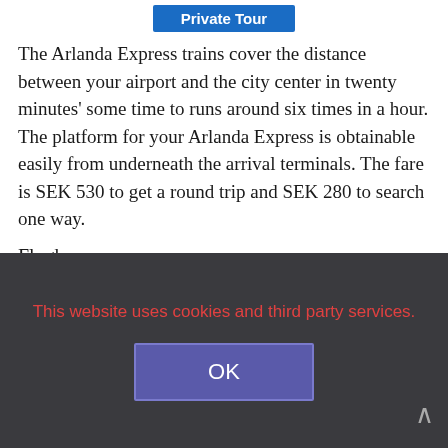Private Tour
The Arlanda Express trains cover the distance between your airport and the city center in twenty minutes' some time to runs around six times in a hour. The platform for your Arlanda Express is obtainable easily from underneath the arrival terminals. The fare is SEK 530 to get a round trip and SEK 280 to search one way.
Flygbussarna
Flygbussarna
This website uses cookies and third party services.
OK